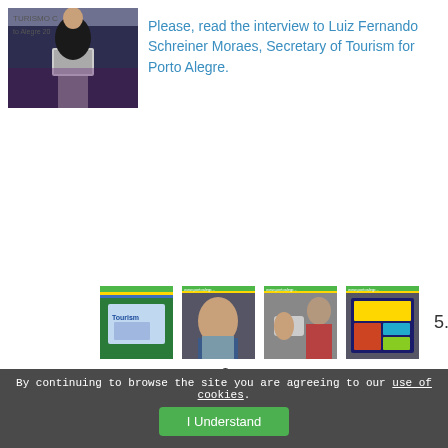[Figure (photo): Man in dark jacket speaking at a podium with a Tourism sign/banner visible behind him]
Please, read the interview to Luiz Fernando Schreiner Moraes, Secretary of Tourism for Porto Alegre.
[Figure (photo): Thumbnail 1: Tourism banner/display with colorful graphic]
[Figure (photo): Thumbnail 2: Man looking at something, portoegreturismo.br watermark]
[Figure (photo): Thumbnail 3: Hands with device, man in background, portoegreturismo.br watermark]
[Figure (photo): Thumbnail 4: Colorful display/board, portoegreturismo.br watermark]
5.
6.
By continuing to browse the site you are agreeing to our use of cookies. I Understand